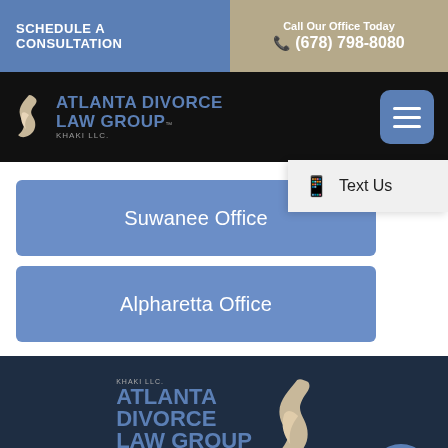SCHEDULE A CONSULTATION
Call Our Office Today (678) 798-8080
[Figure (logo): Atlanta Divorce Law Group Khaki LLC logo with flame/dove icon on black navigation bar]
Text Us
Suwanee Office
Alpharetta Office
[Figure (logo): Atlanta Divorce Law Group Khaki LLC footer logo with dove flame icon and tagline HAPPILY EVER AFTER DIVORCE on dark navy background]